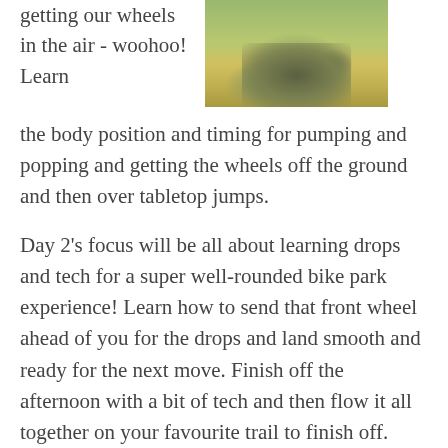getting our wheels in the air - woohoo! Learn the body position and timing for pumping and popping and getting the wheels off the ground and then over tabletop jumps.
[Figure (photo): Aerial or close-up photo of a dirt bike trail or jump surface with grass and soil visible]
Day 2's focus will be all about learning drops and tech for a super well-rounded bike park experience! Learn how to send that front wheel ahead of you for the drops and land smooth and ready for the next move. Finish off the afternoon with a bit of tech and then flow it all together on your favourite trail to finish off. Lots of high fives to your new riding buddies!
Each day will begin with skills and drills then after a